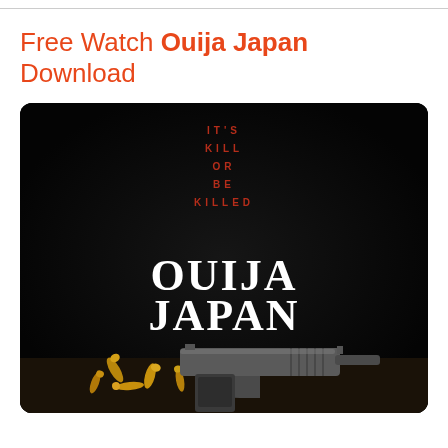Free Watch Ouija Japan Download
[Figure (photo): Movie poster for Ouija Japan on a black background. Red spaced-out tagline text reading IT'S KILL OR BE KILLED vertically, large white serif title OUIJA JAPAN, and bottom shows a handgun with bullet casings scattered around it.]